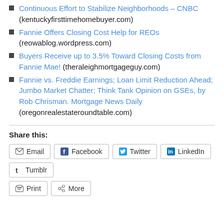Continuous Effort to Stabilize Neighborhoods – CNBC (kentuckyfirsttimehomebuyer.com)
Fannie Offers Closing Cost Help for REOs (reowablog.wordpress.com)
Buyers Receive up to 3.5% Toward Closing Costs from Fannie Mae! (theraleighmortgageguy.com)
Fannie vs. Freddie Earnings; Loan Limit Reduction Ahead; Jumbo Market Chatter; Think Tank Opinion on GSEs, by Rob Chrisman. Mortgage News Daily (oregonrealestateroundtable.com)
Share this:
Email | Facebook | Twitter | LinkedIn | Tumblr | Print | More